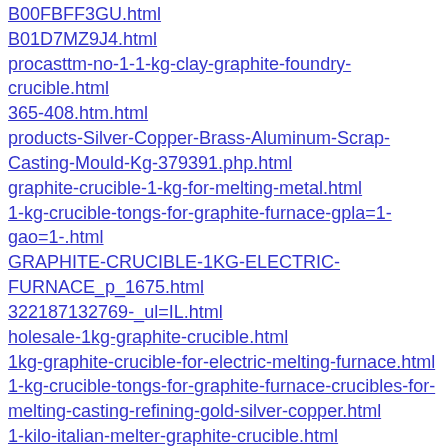B00FBFF3GU.html
B01D7MZ9J4.html
procasttm-no-1-1-kg-clay-graphite-foundry-crucible.html
365-408.htm.html
products-Silver-Copper-Brass-Aluminum-Scrap-Casting-Mould-Kg-379391.php.html
graphite-crucible-1-kg-for-melting-metal.html
1-kg-crucible-tongs-for-graphite-furnace-gpla=1-gao=1-.html
GRAPHITE-CRUCIBLE-1KG-ELECTRIC-FURNACE_p_1675.html
322187132769-_ul=IL.html
holesale-1kg-graphite-crucible.html
1kg-graphite-crucible-for-electric-melting-furnace.html
1-kg-crucible-tongs-for-graphite-furnace-crucibles-for-melting-casting-refining-gold-silver-copper.html
1-kilo-italian-melter-graphite-crucible.html
graphite-crucible-1kg-Made-inItaly-for-melting-furnace-1kg.html
procasttm-no-8-10-kg-clay-graphite-foundry-crucible.html
B00U5BTNSE.html
10_kg_crucible.html
183824332811.html
184338320341.html
10-kg-foundry-clay-graphite-crucible.html
holesale-10kg-graphite-crucible.html
vevor-10kg-gas-metal-melting-furnace-propane-forge-kit-graphite-